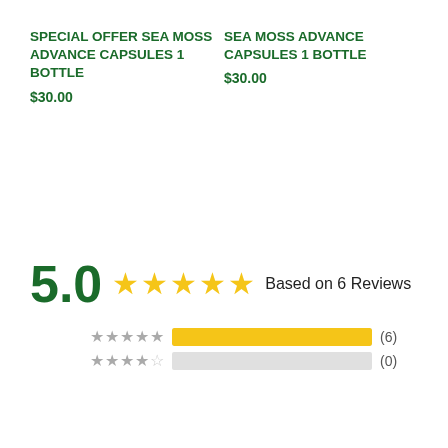SPECIAL OFFER SEA MOSS ADVANCE CAPSULES 1 BOTTLE $30.00
SEA MOSS ADVANCE CAPSULES 1 BOTTLE $30.00
5.0 ★★★★★ Based on 6 Reviews
[Figure (infographic): Rating bar chart showing 5-star: 6 reviews (full bar), 4-star: 0 reviews (empty bar)]